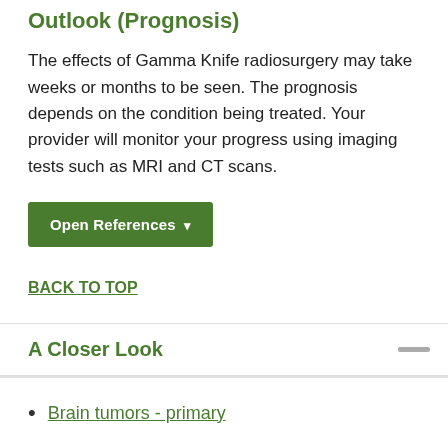Outlook (Prognosis)
The effects of Gamma Knife radiosurgery may take weeks or months to be seen. The prognosis depends on the condition being treated. Your provider will monitor your progress using imaging tests such as MRI and CT scans.
Open References ▾
BACK TO TOP
A Closer Look
Brain tumors - primary